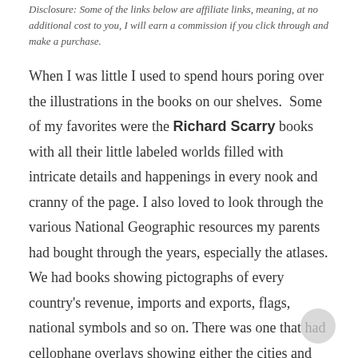Disclosure: Some of the links below are affiliate links, meaning, at no additional cost to you, I will earn a commission if you click through and make a purchase.
When I was little I used to spend hours poring over the illustrations in the books on our shelves.  Some of my favorites were the Richard Scarry books with all their little labeled worlds filled with intricate details and happenings in every nook and cranny of the page. I also loved to look through the various National Geographic resources my parents had bought through the years, especially the atlases. We had books showing pictographs of every country's revenue, imports and exports, flags, national symbols and so on. There was one that had cellophane overlays showing either the cities and landmarks or the natural topographical features over the outlines of the countries or showing relative sizes of the various planets, moons, and constellations within the solar system. I was